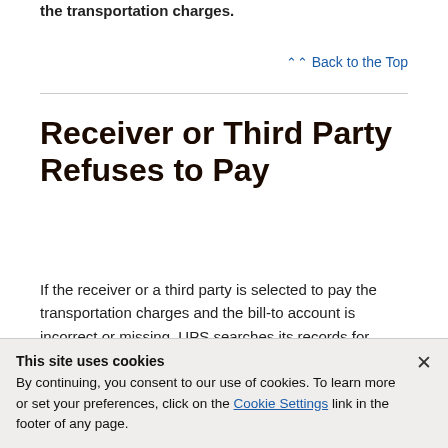the transportation charges.
⌃⌃ Back to the Top
Receiver or Third Party Refuses to Pay
If the receiver or a third party is selected to pay the transportation charges and the bill-to account is incorrect or missing, UPS searches its records for
This site uses cookies
By continuing, you consent to our use of cookies. To learn more or set your preferences, click on the Cookie Settings link in the footer of any page.